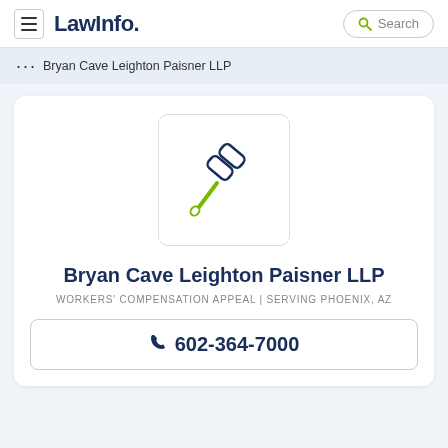LawInfo. Search
... Bryan Cave Leighton Paisner LLP
[Figure (illustration): A gavel/hammer icon with dark blue head and olive/green handle inside a rounded rectangle border]
Bryan Cave Leighton Paisner LLP
WORKERS' COMPENSATION APPEAL | SERVING PHOENIX, AZ
602-364-7000